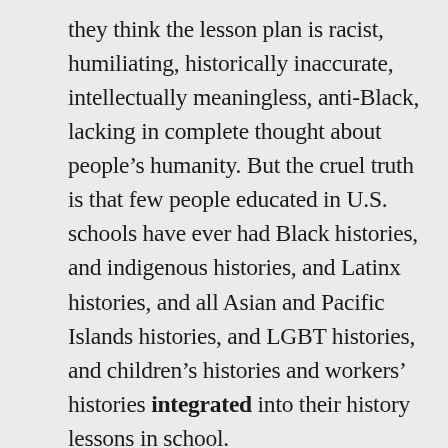they think the lesson plan is racist, humiliating, historically inaccurate, intellectually meaningless, anti-Black, lacking in complete thought about people's humanity. But the cruel truth is that few people educated in U.S. schools have ever had Black histories, and indigenous histories, and Latinx histories, and all Asian and Pacific Islands histories, and LGBT histories, and children's histories and workers' histories integrated into their history lessons in school.